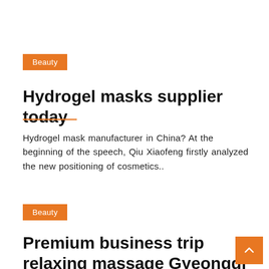Beauty
Hydrogel masks supplier today
Hydrogel mask manufacturer in China? At the beginning of the speech, Qiu Xiaofeng firstly analyzed the new positioning of cosmetics..
Beauty
Premium business trip relaxing massage Gyeonggi